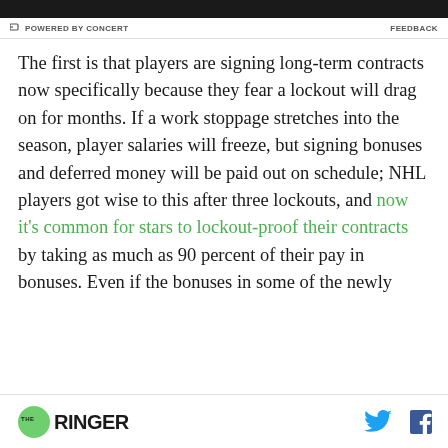POWERED BY CONCERT    FEEDBACK
The first is that players are signing long-term contracts now specifically because they fear a lockout will drag on for months. If a work stoppage stretches into the season, player salaries will freeze, but signing bonuses and deferred money will be paid out on schedule; NHL players got wise to this after three lockouts, and now it's common for stars to lockout-proof their contracts by taking as much as 90 percent of their pay in bonuses. Even if the bonuses in some of the newly
THE RINGER